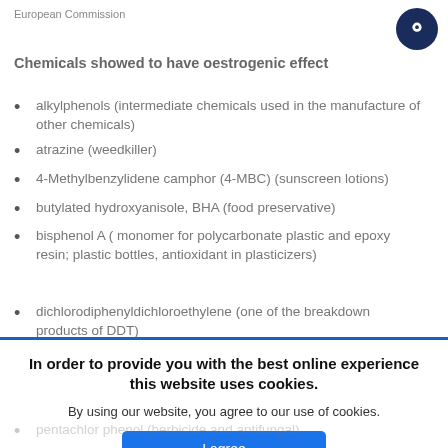European Commission
Chemicals showed to have oestrogenic effect
alkylphenols (intermediate chemicals used in the manufacture of other chemicals)
atrazine (weedkiller)
4-Methylbenzylidene camphor (4-MBC) (sunscreen lotions)
butylated hydroxyanisole, BHA (food preservative)
bisphenol A ( monomer for polycarbonate plastic and epoxy resin; plastic bottles, antioxidant in plasticizers)
dichlorodiphenyldichloroethylene (one of the breakdown products of DDT)
In order to provide you with the best online experience this website uses cookies.
By using our website, you agree to our use of cookies.
pentachlor... (partially visible)
lindane he... (partially visible)